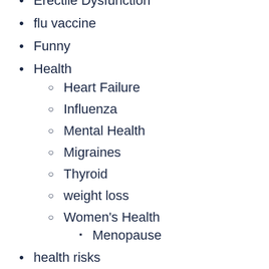Erectile Dysfunction
flu vaccine
Funny
Health
Heart Failure
Influenza
Mental Health
Migraines
Thyroid
weight loss
Women's Health
Menopause
health risks
diabetes
Israel
medication side effects
Medication Tips
Medical Cannabis